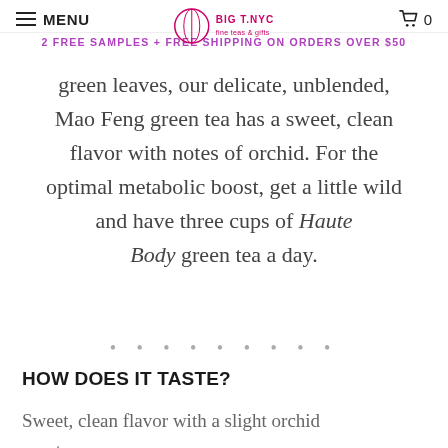MENU | BIG T NYC | 0
2 FREE SAMPLES + FREE SHIPPING ON ORDERS OVER $50
green leaves, our delicate, unblended, Mao Feng green tea has a sweet, clean flavor with notes of orchid. For the optimal metabolic boost, get a little wild and have three cups of Haute Body green tea a day.
• • • • • • • • •
HOW DOES IT TASTE?
Sweet, clean flavor with a slight orchid overtone